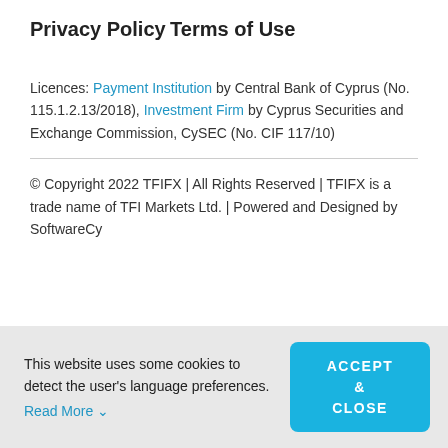Privacy Policy
Terms of Use
Licences: Payment Institution by Central Bank of Cyprus (No. 115.1.2.13/2018), Investment Firm by Cyprus Securities and Exchange Commission, CySEC (No. CIF 117/10)
© Copyright 2022 TFIFX | All Rights Reserved | TFIFX is a trade name of TFI Markets Ltd. | Powered and Designed by SoftwareCy
This website uses some cookies to detect the user's language preferences. Read More